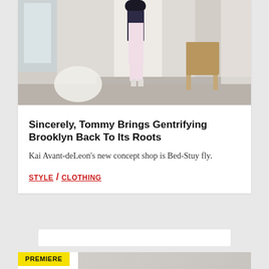[Figure (photo): Fashion/lifestyle photo of a person in a light pink midi dress and denim jacket standing in a minimalist room with concrete steps and a leather chair]
Sincerely, Tommy Brings Gentrifying Brooklyn Back To Its Roots
Kai Avant-deLeon’s new concept shop is Bed-Stuy fly.
STYLE / CLOTHING
[Figure (photo): Partially visible image below a yellow PREMIERE badge, showing a light-colored scene]
PREMIERE